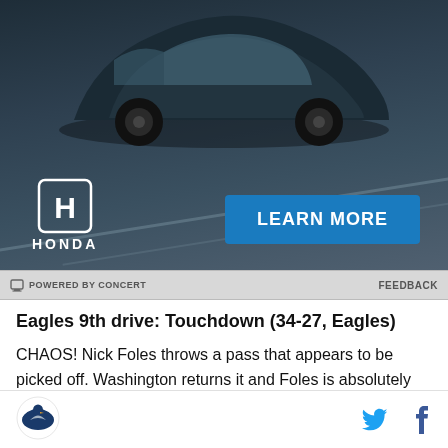[Figure (photo): Honda advertisement banner showing a car on a road with Honda logo and 'LEARN MORE' button]
POWERED BY CONCERT   FEEDBACK
Eagles 9th drive: Touchdown (34-27, Eagles)
CHAOS! Nick Foles throws a pass that appears to be picked off. Washington returns it and Foles is absolutely leveled by Washington defender Chris Baker on the play. Dirty, dirty hit by Baker. Eagles starting offensive tackle Jason Peters is furious, approaches Washington defenders, and chaos ensues. Both teams are gathering in a large huddle that is
SB Nation Eagles logo, Twitter icon, Facebook icon